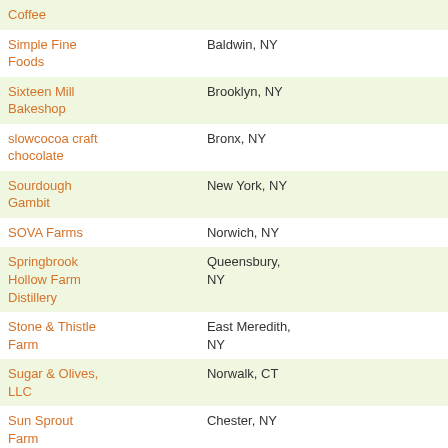| Name | Location |
| --- | --- |
| Coffee |  |
| Simple Fine Foods | Baldwin, NY |
| Sixteen Mill Bakeshop | Brooklyn, NY |
| slowcocoa craft chocolate | Bronx, NY |
| Sourdough Gambit | New York, NY |
| SOVA Farms | Norwich, NY |
| Springbrook Hollow Farm Distillery | Queensbury, NY |
| Stone & Thistle Farm | East Meredith, NY |
| Sugar & Olives, LLC | Norwalk, CT |
| Sun Sprout Farm | Chester, NY |
| Sundae Fundae | Astoria, NY |